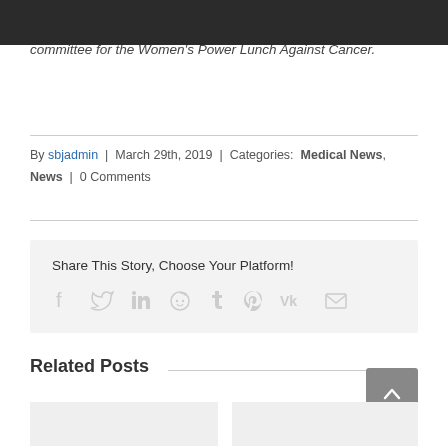committee for the Women's Power Lunch Against Cancer.
By sbjadmin | March 29th, 2019 | Categories: Medical News, News | 0 Comments
Share This Story, Choose Your Platform!
[Figure (infographic): Social media sharing icons: Facebook, Twitter, LinkedIn, Reddit, Tumblr, Pinterest, VK, Email]
Related Posts
[Figure (photo): Left thumbnail image placeholder for related post]
[Figure (photo): Right thumbnail image placeholder for related post]